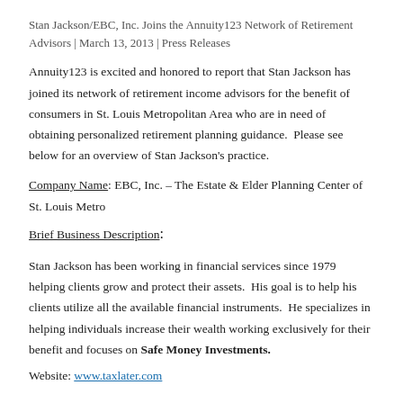Stan Jackson/EBC, Inc. Joins the Annuity123 Network of Retirement Advisors | March 13, 2013 | Press Releases
Annuity123 is excited and honored to report that Stan Jackson has joined its network of retirement income advisors for the benefit of consumers in St. Louis Metropolitan Area who are in need of obtaining personalized retirement planning guidance.  Please see below for an overview of Stan Jackson's practice.
Company Name: EBC, Inc. – The Estate & Elder Planning Center of St. Louis Metro
Brief Business Description:
Stan Jackson has been working in financial services since 1979 helping clients grow and protect their assets.  His goal is to help his clients utilize all the available financial instruments.  He specializes in helping individuals increase their wealth working exclusively for their benefit and focuses on Safe Money Investments.
Website: www.taxlater.com